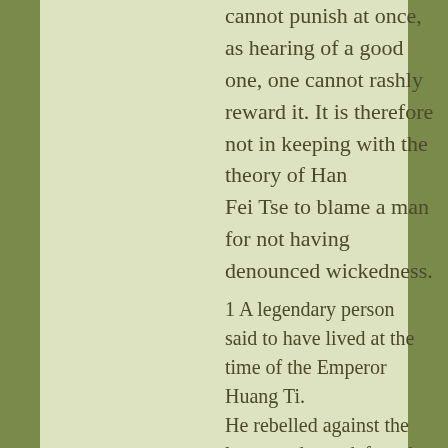cannot punish at once, as hearing of a good one, one cannot rashly reward it. It is therefore not in keeping with the theory of Han Fei Tse to blame a man for not having denounced wickedness.
1 A legendary person said to have lived at the time of the Emperor Huang Ti. He rebelled against the latter, and was defeated.